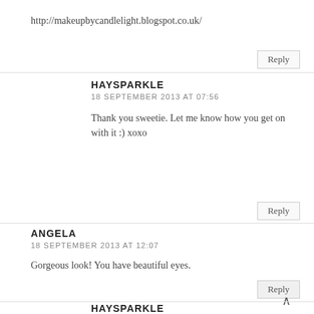http://makeupbycandlelight.blogspot.co.uk/
Reply
HAYSPARKLE
18 SEPTEMBER 2013 AT 07:56
Thank you sweetie. Let me know how you get on with it :) xoxo
Reply
ANGELA
18 SEPTEMBER 2013 AT 12:07
Gorgeous look! You have beautiful eyes.
Reply
HAYSPARKLE
18 SEPTEMBER 2013 AT 20:00
Awww thank you beaut :) xoxo